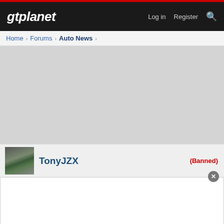gtplanet — Log in  Register
Home > Forums > Auto News >
[Figure (other): Gray placeholder content area]
TonyJZX (Banned)